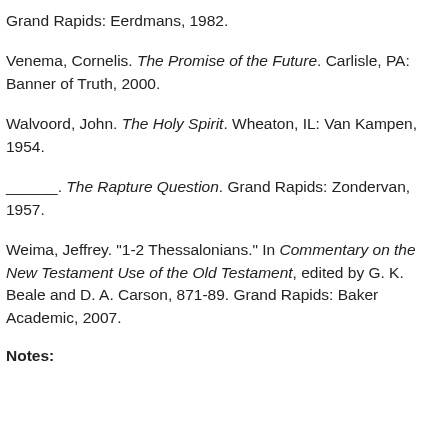Grand Rapids: Eerdmans, 1982.
Venema, Cornelis. The Promise of the Future. Carlisle, PA: Banner of Truth, 2000.
Walvoord, John. The Holy Spirit. Wheaton, IL: Van Kampen, 1954.
______. The Rapture Question. Grand Rapids: Zondervan, 1957.
Weima, Jeffrey. "1-2 Thessalonians." In Commentary on the New Testament Use of the Old Testament, edited by G. K. Beale and D. A. Carson, 871-89. Grand Rapids: Baker Academic, 2007.
Notes: